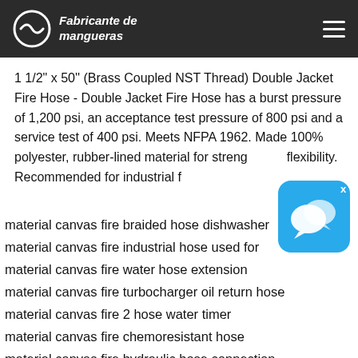Fabricante de mangueras
1 1/2" x 50'' (Brass Coupled NST Thread) Double Jacket Fire Hose - Double Jacket Fire Hose has a burst pressure of 1,200 psi, an acceptance test pressure of 800 psi and a service test of 400 psi. Meets NFPA 1962. Made 100% polyester, rubber-lined material for strength flexibility. Recommended for industrial f
[Figure (other): Chat bubble icon overlay in blue]
material canvas fire braided hose dishwasher
material canvas fire industrial hose used for
material canvas fire water hose extension
material canvas fire turbocharger oil return hose
material canvas fire 2 hose water timer
material canvas fire chemoresistant hose
material canvas fire hydraulic hose connection